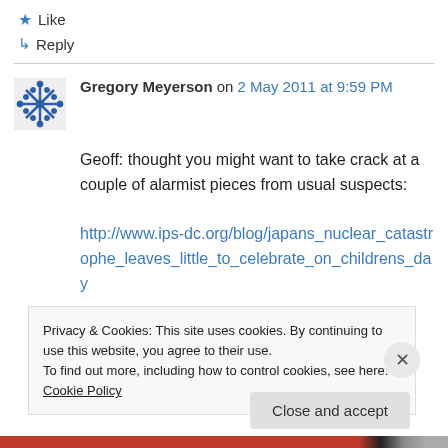★ Like
↳ Reply
Gregory Meyerson on 2 May 2011 at 9:59 PM
Geoff: thought you might want to take crack at a couple of alarmist pieces from usual suspects:
http://www.ips-dc.org/blog/japans_nuclear_catastrophe_leaves_little_to_celebrate_on_childrens_day
Privacy & Cookies: This site uses cookies. By continuing to use this website, you agree to their use.
To find out more, including how to control cookies, see here: Cookie Policy